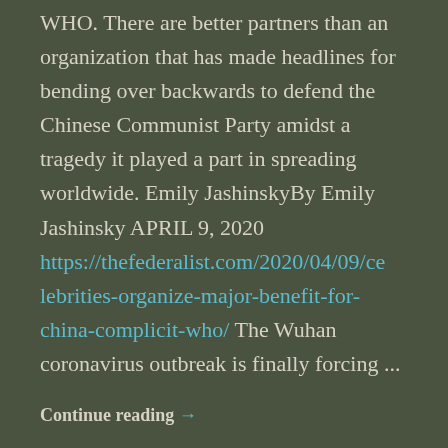WHO. There are better partners than an organization that has made headlines for bending over backwards to defend the Chinese Communist Party amidst a tragedy it played a part in spreading worldwide. Emily JashinskyBy Emily Jashinsky APRIL 9, 2020 https://thefederalist.com/2020/04/09/celebrities-organize-major-benefit-for-china-complicit-who/ The Wuhan coronavirus outbreak is finally forcing ...
Continue reading →
Rate this:
★★★★★ ℹ Rate This